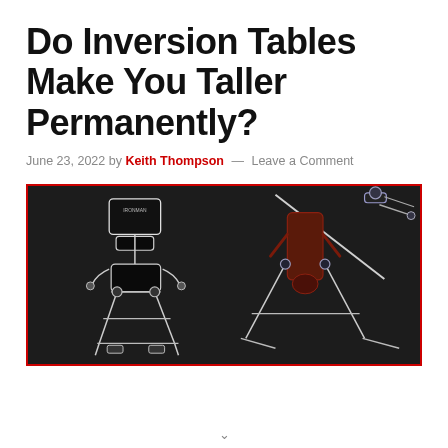Do Inversion Tables Make You Taller Permanently?
June 23, 2022 by Keith Thompson — Leave a Comment
[Figure (photo): Dark-background product illustration showing two inversion table models in wireframe/outline style with red border. Left table shows an upright chair-style inversion table, right shows an angled inversion table with a person inverted.]